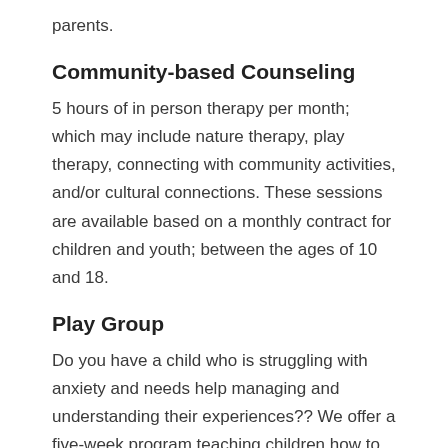parents.
Community-based Counseling
5 hours of in person therapy per month; which may include nature therapy, play therapy, connecting with community activities, and/or cultural connections. These sessions are available based on a monthly contract for children and youth; between the ages of 10 and 18.
Play Group
Do you have a child who is struggling with anxiety and needs help managing and understanding their experiences?? We offer a five-week program teaching children how to recognize their anxiety and understand it. The Play Group teaches emotion regulation skills, mindfulness skills, and tools to help them cope.